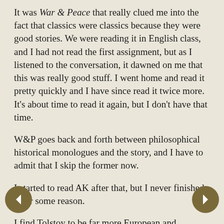It was War & Peace that really clued me into the fact that classics were classics because they were good stories. We were reading it in English class, and I had not read the first assignment, but as I listened to the conversation, it dawned on me that this was really good stuff. I went home and read it pretty quickly and I have since read it twice more. It's about time to read it again, but I don't have that time.
W&P goes back and forth between philosophical historical monologues and the story, and I have to admit that I skip the former now.
I started to read AK after that, but I never finished it for some reason.
I find Tolstoy to be far more European and comprehensible than Dostoevsky. I know Pierre and Natasha in a way I can never know Dmitri & Crushenks. Still, I think there is more depth to